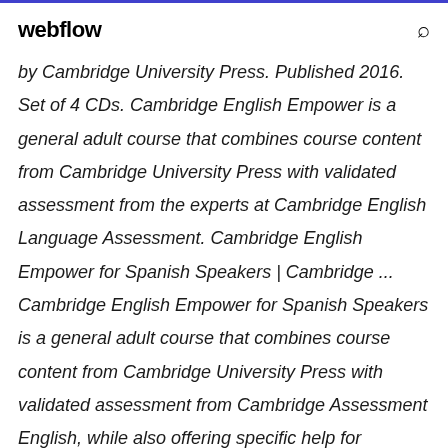webflow
by Cambridge University Press. Published 2016. Set of 4 CDs. Cambridge English Empower is a general adult course that combines course content from Cambridge University Press with validated assessment from the experts at Cambridge English Language Assessment. Cambridge English Empower for Spanish Speakers | Cambridge ... Cambridge English Empower for Spanish Speakers is a general adult course that combines course content from Cambridge University Press with validated assessment from Cambridge Assessment English, while also offering specific help for Spanish-speaking learners. This unique mix of engaging